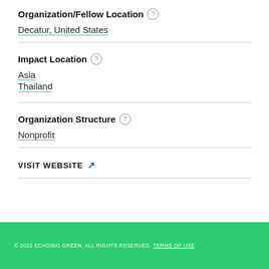Organization/Fellow Location
Decatur, United States
Impact Location
Asia
Thailand
Organization Structure
Nonprofit
VISIT WEBSITE ↗
© 2022 ECHOING GREEN, ALL RIGHTS RESERVED. TERMS OF USE